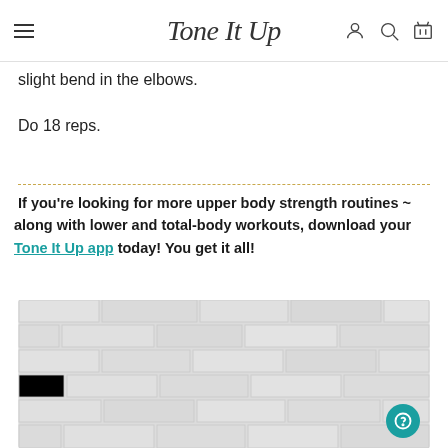Tone It Up
slight bend in the elbows.
Do 18 reps.
If you’re looking for more upper body strength routines – along with lower and total-body workouts, download your Tone It Up app today! You get it all!
[Figure (photo): White painted brick wall background photo]